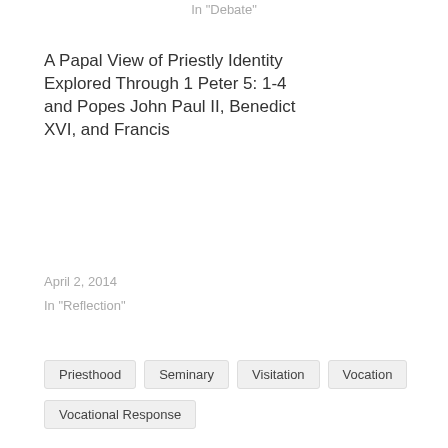In "Debate"
A Papal View of Priestly Identity Explored Through 1 Peter 5: 1-4 and Popes John Paul II, Benedict XVI, and Francis
April 2, 2014
In "Reflection"
Priesthood
Seminary
Visitation
Vocation
Vocational Response
[Figure (logo): Purple circular avatar icon with decorative cross/compass pattern]
Published by peterjfonseca
View all posts by peterjfonseca